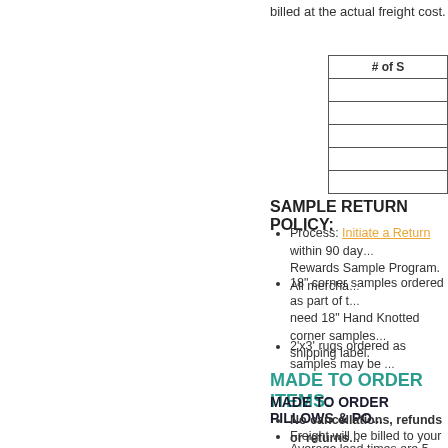billed at the actual freight cost.
| # of S |
| --- |
|  |
|  |
|  |
|  |
|  |
SAMPLE RETURN POLICY:
Process: Initiate a Return within 90 days of Rewards Sample Program. All mercha...
18" corner samples ordered as part of t... need 18" Hand Knotted corner samples... shipping label.
2'x3' rugs ordered as samples may be ...
MADE TO ORDER ITEMS:
MADE TO ORDER PILLOWS & PO...
No cancellations, refunds or returns...
Freight will be billed to your account on...
Average lead times are 5-15 days.